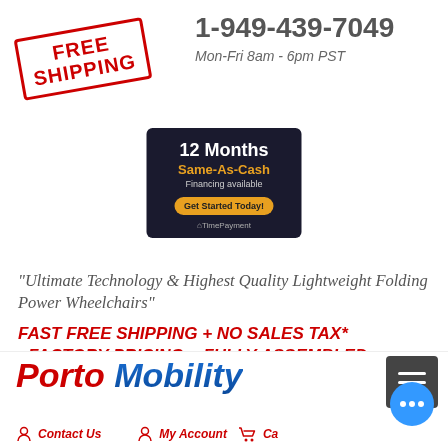[Figure (illustration): Red FREE SHIPPING stamp-style badge, rotated slightly counter-clockwise, with red border rectangle and bold red uppercase text reading FREE SHIPPING]
1-949-439-7049
Mon-Fri 8am - 6pm PST
[Figure (infographic): Dark background badge showing '12 Months Same-As-Cash Financing available Get Started Today! TimePayment']
"Ultimate Technology & Highest Quality Lightweight Folding Power Wheelchairs"
FAST FREE SHIPPING + NO SALES TAX* +FACTORY PRICING + FULLY ASSEMBLED
[Figure (logo): Porto Mobility logo in red and blue italic bold text, with menu icon, chat bubble, Contact Us, My Account, and Cart navigation]
Contact Us   My Account   Cart